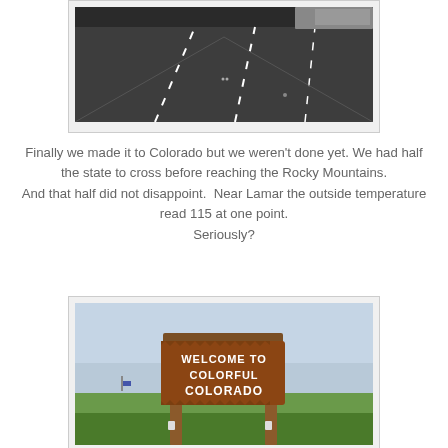[Figure (photo): Photo of a highway/road from above, dark asphalt with lane markings visible, a truck partially visible at top right]
Finally we made it to Colorado but we weren't done yet. We had half the state to cross before reaching the Rocky Mountains.
And that half did not disappoint.  Near Lamar the outside temperature read 115 at one point.
Seriously?
[Figure (photo): Photo of a 'Welcome to Colorful Colorado' wooden sign on a sunny day with green fields in the background]